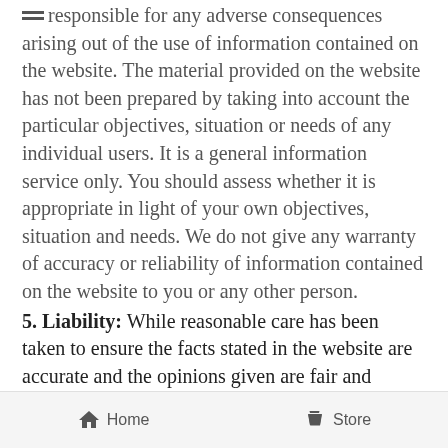responsible for any adverse consequences arising out of the use of information contained on the website. The material provided on the website has not been prepared by taking into account the particular objectives, situation or needs of any individual users. It is a general information service only. You should assess whether it is appropriate in light of your own objectives, situation and needs. We do not give any warranty of accuracy or reliability of information contained on the website to you or any other person.
5. Liability: While reasonable care has been taken to ensure the facts stated in the website are accurate and the opinions given are fair and reasonable, neither we nor any of our employees, to the fullest extent permitted by law, will be responsible for errors or misstatements or be liable whether in contract, tort (including negligence) or otherwise for any loss or
Home   Store